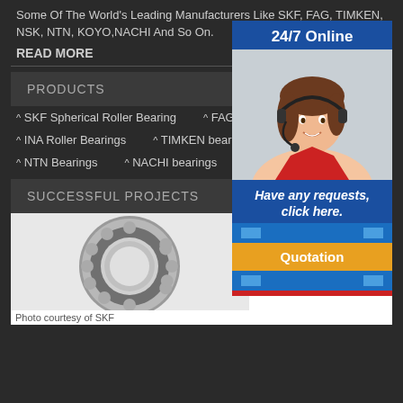Some Of The World's Leading Manufacturers Like SKF, FAG, TIMKEN, NSK, NTN, KOYO,NACHI And So On.
READ MORE
PRODUCTS
^ SKF Spherical Roller Bearing
^ FAG bearings
^ INA Roller Bearings
^ TIMKEN bearings
^ NTN Bearings
^ NACHI bearings
^ KO...
SUCCESSFUL PROJECTS
[Figure (photo): Spherical roller bearing, metallic gray, circular with visible rolling elements]
[Figure (infographic): 24/7 Online customer service widget with smiling female agent wearing headset. Contains 'Have any requests, click here.' text and 'Quotation' orange button.]
Photo courtesy of SKF